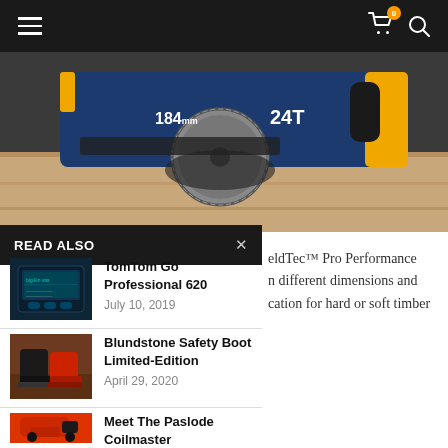Navigation bar with hamburger menu, cart (0 items), and search icon
[Figure (photo): Close-up photo of a circular saw blade with '184mm' and '24T' markings, cutting through wood]
READ ALSO
[Figure (photo): Thumbnail of TomTom Go Professional 620 device]
TomTom Go Professional 620
July 10, 2019
[Figure (photo): Thumbnail of Blundstone Safety Boot Limited-Edition]
Blundstone Safety Boot Limited-Edition
April 29, 2020
[Figure (photo): Thumbnail of Paslode Coilmaster nail gun in orange and black]
Meet The Paslode Coilmaster
December 3, 2020
eldTec™ Pro Performance n different dimensions and cation for hard or soft timber